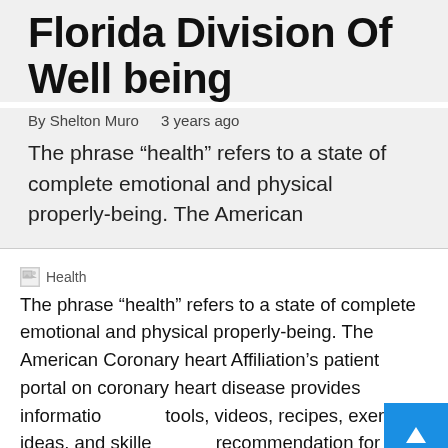Florida Division Of Well being
By Shelton Muro   3 years ago
The phrase “health” refers to a state of complete emotional and physical properly-being. The American
[Figure (photo): Broken image placeholder labeled 'Health']
The phrase “health” refers to a state of complete emotional and physical properly-being. The American Coronary heart Affiliation’s patient portal on coronary heart disease provides information, tools, videos, recipes, exercise ideas, and skilled recommendation for patients with heart disease